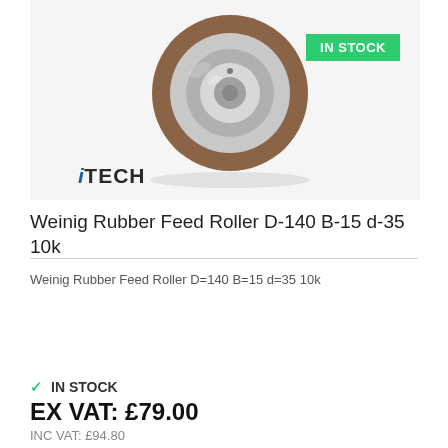[Figure (photo): Rubber feed roller with brown rubber outer ring and silver metal center hub, shown on white background. iTECH logo below the image. Green 'IN STOCK' badge overlay.]
Weinig Rubber Feed Roller D-140 B-15 d-35 10k
Weinig Rubber Feed Roller D=140 B=15 d=35 10k
✓ IN STOCK
EX VAT: £79.00
INC VAT: £94.80